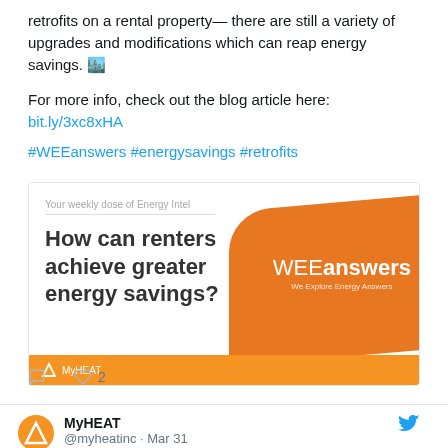retrofits on a rental property— there are still a variety of upgrades and modifications which can reap energy savings. 🏙️
For more info, check out the blog article here: bit.ly/3xc8xHA
#WEEanswers #energysavings #retrofits
[Figure (screenshot): WEEanswers blog card: 'Your weekly dose of Energy intel' subtitle, heading 'How can renters achieve greater energy savings?', orange diagonal background with WEEanswers branding, MyHEAT logo footer]
♡ 2
MyHEAT @myheatinc · Mar 31